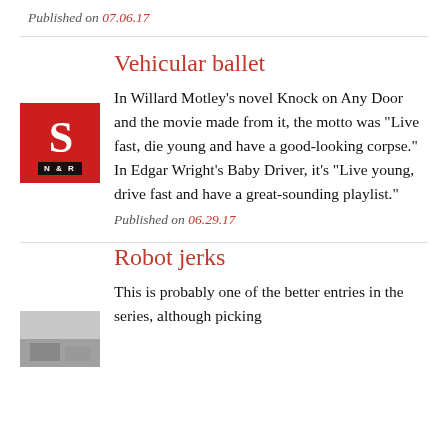Published on 07.06.17
Vehicular ballet
In Willard Motley’s novel Knock on Any Door and the movie made from it, the motto was “Live fast, die young and have a good-looking corpse.” In Edgar Wright’s Baby Driver, it’s “Live young, drive fast and have a great-sounding playlist.”
Published on 06.29.17
Robot jerks
This is probably one of the better entries in the series, although picking